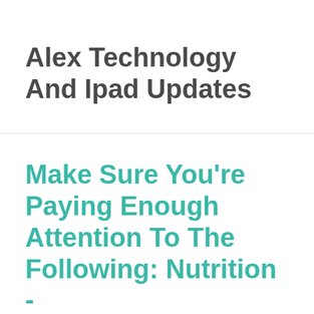Alex Technology And Ipad Updates
Make Sure You're Paying Enough Attention To The Following: Nutrition -